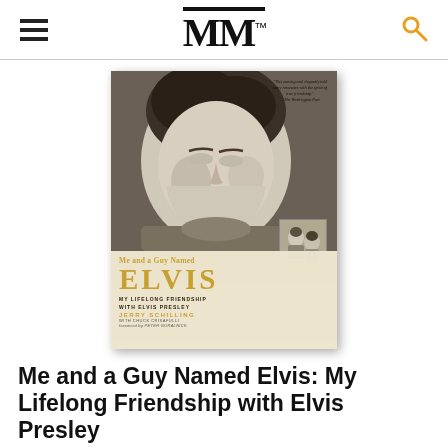MM
[Figure (photo): Book cover of 'Me and a Guy Named Elvis: My Lifelong Friendship with Elvis Presley' by Jerry Schilling with Chuck Crisafulli, foreword by Peter Guralnick. Shows a black-and-white photo of Elvis Presley looking downward, a small inset photo, and a quote from The Washington Post. Title text in gold lettering.]
Me and a Guy Named Elvis: My Lifelong Friendship with Elvis Presley